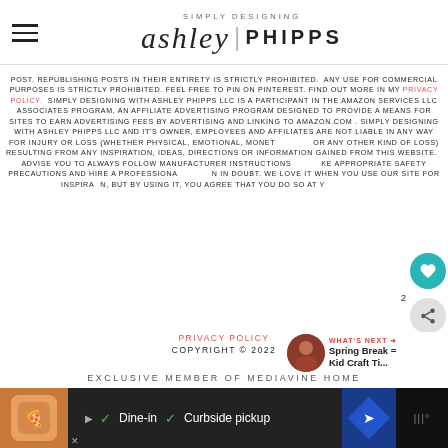SIMPLY DESIGNING ashley | PHIPPS
POST. REPUBLISHING POSTS IN THEIR ENTIRETY IS STRICTLY PROHIBITED. ANY USE FOR COMMERCIAL PURPOSES IS STRICTLY PROHIBITED. FEEL FREE TO PIN ON PINTEREST. FIND OUT MORE IN MY PRIVACY POLICY. SIMPLY DESIGNING WITH ASHLEY PHIPPS LLC IS A PARTICIPANT IN THE AMAZON SERVICES LLC ASSOCIATES PROGRAM, AN AFFILIATE ADVERTISING PROGRAM DESIGNED TO PROVIDE A MEANS FOR SITES TO EARN ADVERTISING FEES BY ADVERTISING AND LINKING TO AMAZON.COM . SIMPLY DESIGNING WITH ASHLEY PHIPPS LLC AND IT'S OWNER, EMPLOYEES AND AFFILIATES ARE NOT LIABLE IN ANY WAY FOR INJURY OR LOSS (WHETHER PHYSICAL, EMOTIONAL, MONETARY, OR ANY OTHER KIND OF LOSS) RESULTING FROM ANY INSPIRATION, IDEAS, DIRECTIONS OR INFORMATION GAINED FROM THIS WEBSITE. WE ADVISE YOU TO ALWAYS FOLLOW MANUFACTURER INSTRUCTIONS, TAKE APPROPRIATE SAFETY PRECAUTIONS AND HIRE A PROFESSIONAL WHEN IN DOUBT. WE LOVE IT WHEN YOU USE OUR SITE FOR INSPIRATION, BUT BY USING IT, YOU AGREE THAT YOU DO SO AT YOUR OWN RISK.
PRIVACY POLICY
COPYRIGHT © 2022
EXCLUSIVE MEMBER OF MEDIAVINE HOME
[Figure (screenshot): Ad bar at bottom with restaurant logo, dine-in and curbside pickup options, navigation icon]